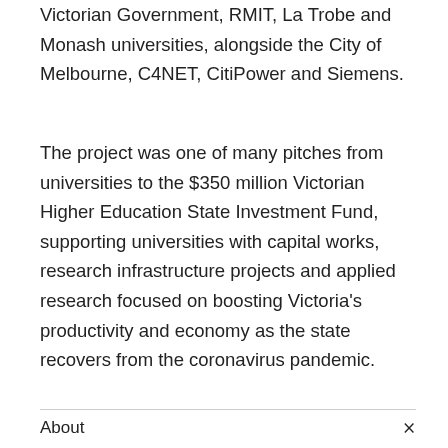Victorian Government, RMIT, La Trobe and Monash universities, alongside the City of Melbourne, C4NET, CitiPower and Siemens.
The project was one of many pitches from universities to the $350 million Victorian Higher Education State Investment Fund, supporting universities with capital works, research infrastructure projects and applied research focused on boosting Victoria's productivity and economy as the state recovers from the coronavirus pandemic.
About